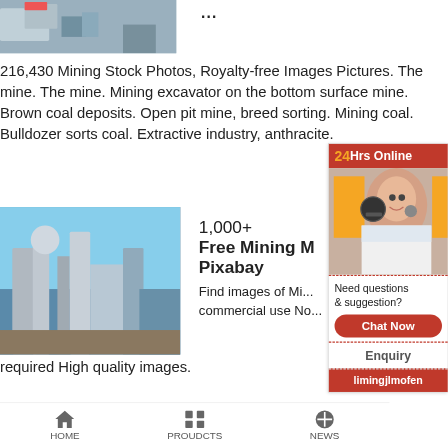[Figure (photo): Mining equipment photo, partially cropped at top]
...
216,430 Mining Stock Photos, Royalty-free Images Pictures. The mine. The mine. Mining excavator on the bottom surface mine. Brown coal deposits. Open pit mine, breed sorting. Mining coal. Bulldozer sorts coal. Extractive industry, anthracite.
[Figure (photo): Industrial mining facility with silos and pipes against blue sky]
1,000+
Free Mining M... Pixabay
Find images of Mi... commercial use No...
required High quality images.
[Figure (photo): 24Hrs Online customer service representative with headset]
Need questions & suggestion?
Chat Now
Enquiry
limingjlmofen
HOME   PROUDCTS   NEWS